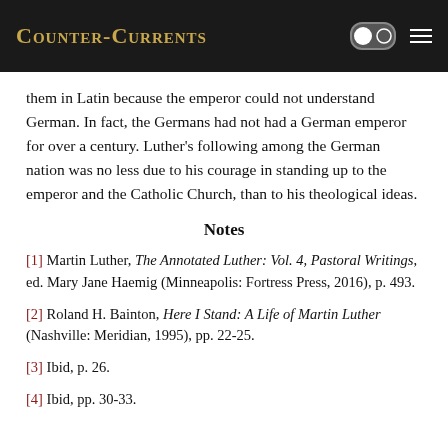Counter-Currents
them in Latin because the emperor could not understand German. In fact, the Germans had not had a German emperor for over a century. Luther's following among the German nation was no less due to his courage in standing up to the emperor and the Catholic Church, than to his theological ideas.
Notes
[1] Martin Luther, The Annotated Luther: Vol. 4, Pastoral Writings, ed. Mary Jane Haemig (Minneapolis: Fortress Press, 2016), p. 493.
[2] Roland H. Bainton, Here I Stand: A Life of Martin Luther (Nashville: Meridian, 1995), pp. 22-25.
[3] Ibid, p. 26.
[4] Ibid, pp. 30-33.